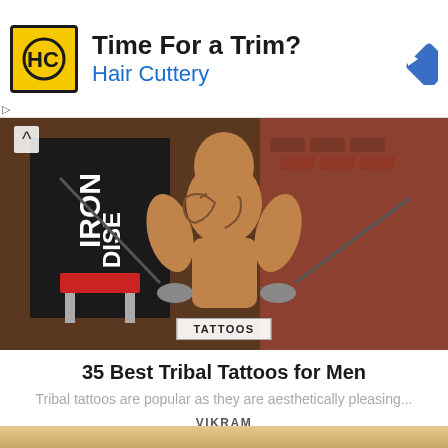[Figure (illustration): Hair Cuttery advertisement banner with yellow logo showing HC letters, text 'Time For a Trim?' and 'Hair Cuttery' in blue, and a blue diamond navigation icon on the right]
[Figure (photo): A muscular heavily tattooed man working out in a gym with cable machine equipment, brick wall background, 'IRON PARADISE' banner visible, red bench in background]
TATTOOS
35 Best Tribal Tattoos for Men
Tribal tattoos are popular as they are aesthetically pleasing...
VIKRAM